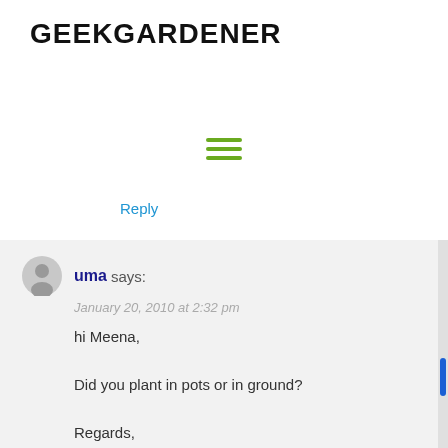GEEKGARDENER
[Figure (other): Hamburger menu icon with three green horizontal lines]
Reply
uma says:
January 20, 2010 at 2:32 pm
hi Meena,

Did you plant in pots or in ground?

Regards,
Uma